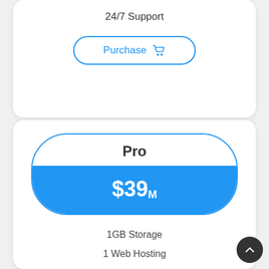24/7 Support
Purchase
Pro
$39M
1GB Storage
1 Web Hosting